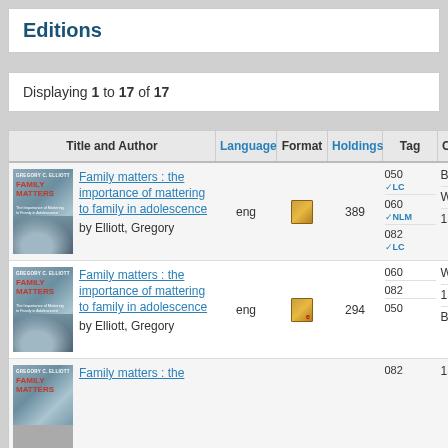Editions
Displaying 1 to 17 of 17
| Title and Author | Language | Format | Holdings | Tag | Class |
| --- | --- | --- | --- | --- | --- |
| Family matters : the importance of mattering to family in adolescence / by Elliott, Gregory | eng | [book icon] | 389 | 050 LC / 060 NLM / 082 LC | BF724 / WS462 / 155.518 |
| Family matters : the importance of mattering to family in adolescence / by Elliott, Gregory | eng | [ebook icon] | 294 | 060 / 082 / 050 | WS462 / 155.518 / BF724 |
| Family matters : the ... |  |  |  | 082 | 155.518 |